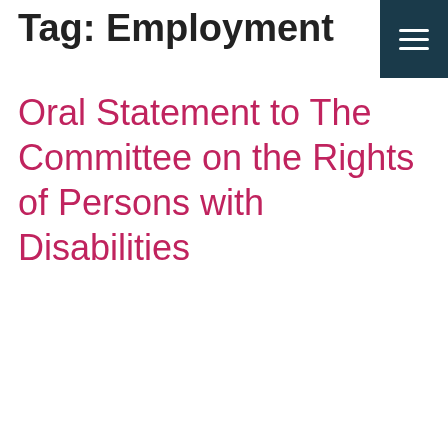Tag: Employment
Oral Statement to The Committee on the Rights of Persons with Disabilities